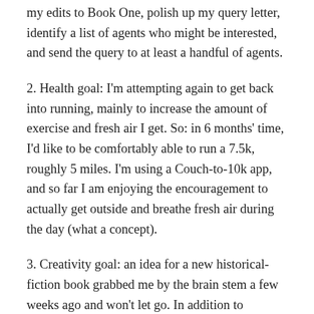my edits to Book One, polish up my query letter, identify a list of agents who might be interested, and send the query to at least a handful of agents.
2. Health goal: I'm attempting again to get back into running, mainly to increase the amount of exercise and fresh air I get. So: in 6 months' time, I'd like to be comfortably able to run a 7.5k, roughly 5 miles. I'm using a Couch-to-10k app, and so far I am enjoying the encouragement to actually get outside and breathe fresh air during the day (what a concept).
3. Creativity goal: an idea for a new historical-fiction book grabbed me by the brain stem a few weeks ago and won't let go. In addition to finishing edits on Book One, finishing an SFD of Book Two (which I'm maybe 75% of the way through), and maybe writing a few short stories